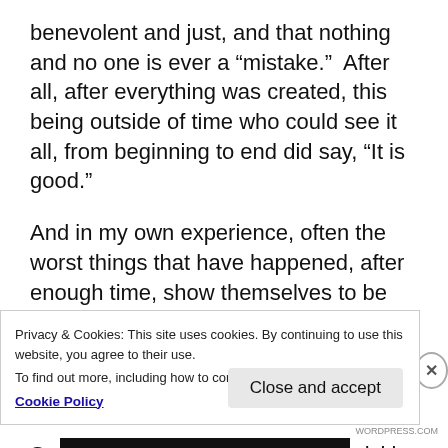benevolent and just, and that nothing and no one is ever a “mistake.”  After all, after everything was created, this being outside of time who could see it all, from beginning to end did say, “It is good.”
And in my own experience, often the worst things that have happened, after enough time, show themselves to be the catalyst for the best.
And a dead RV is hardly the worst that could happen.
So, tonight, it’s taking care of my sickly son who has
Privacy & Cookies: This site uses cookies. By continuing to use this website, you agree to their use.
To find out more, including how to control cookies, see here:
Cookie Policy
Close and accept